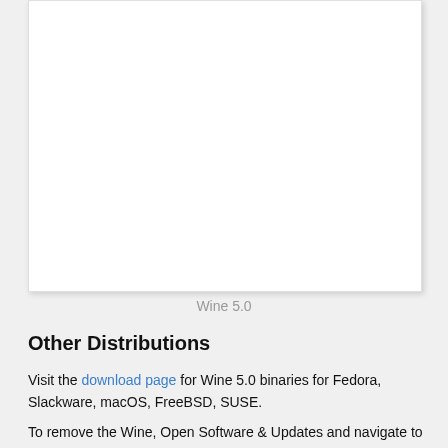[Figure (screenshot): A white rectangle representing an image placeholder (Wine 5.0 screenshot), shown with a light border and shadow on a light gray background.]
Wine 5.0
Other Distributions
Visit the download page for Wine 5.0 binaries for Fedora, Slackware, macOS, FreeBSD, SUSE.
To remove the Wine, Open Software & Updates and navigate to Other Software tab. Then remove the PPA